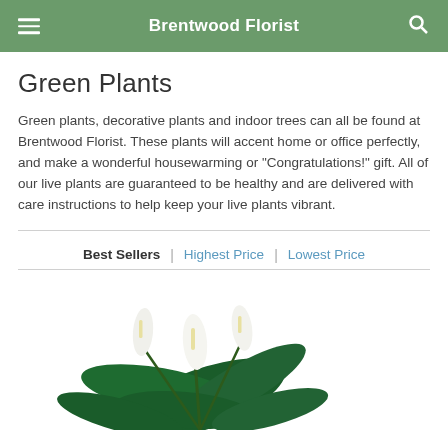Brentwood Florist
Green Plants
Green plants, decorative plants and indoor trees can all be found at Brentwood Florist. These plants will accent home or office perfectly, and make a wonderful housewarming or "Congratulations!" gift. All of our live plants are guaranteed to be healthy and are delivered with care instructions to help keep your live plants vibrant.
Best Sellers | Highest Price | Lowest Price
[Figure (photo): A green plant (peace lily) with white flowers, partially visible at the bottom of the page.]